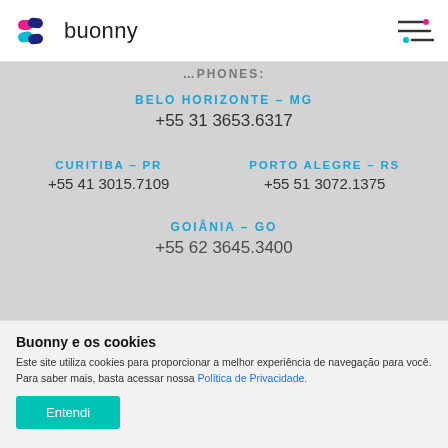buonny
BELO HORIZONTE - MG
+55 31 3653.6317
CURITIBA - PR
+55 41 3015.7109
PORTO ALEGRE - RS
+55 51 3072.1375
GOIÂNIA - GO
+55 62 3645.3400
Buonny e os cookies
Este site utiliza cookies para proporcionar a melhor experiência de navegação para você. Para saber mais, basta acessar nossa Política de Privacidade.
Entendi